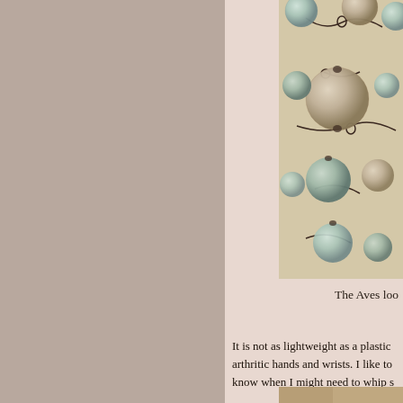[Figure (photo): Close-up macro photograph of beaded jewelry — round stone beads in muted aqua, sage green, and taupe colors connected by dark copper/bronze wire links, resting on a light wooden surface]
The Aves loo
It is not as lightweight as a plastic arthritic hands and wrists. I like to know when I might need to whip s
[Figure (photo): Partial view of another photo at bottom of page]